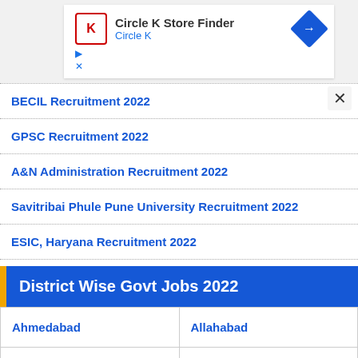[Figure (screenshot): Circle K Store Finder advertisement banner with Circle K logo, app name, and navigation icon]
BECIL Recruitment 2022
GPSC Recruitment 2022
A&N Administration Recruitment 2022
Savitribai Phule Pune University Recruitment 2022
ESIC, Haryana Recruitment 2022
District Wise Govt Jobs 2022
| Ahmedabad | Allahabad |
| Bangalore | Bhopal |